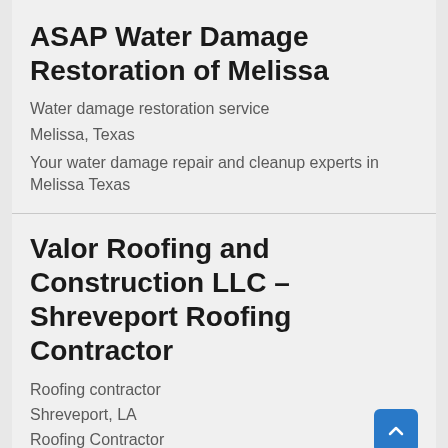ASAP Water Damage Restoration of Melissa
Water damage restoration service
Melissa, Texas
Your water damage repair and cleanup experts in Melissa Texas
Valor Roofing and Construction LLC – Shreveport Roofing Contractor
Roofing contractor
Shreveport, LA
Roofing Contractor